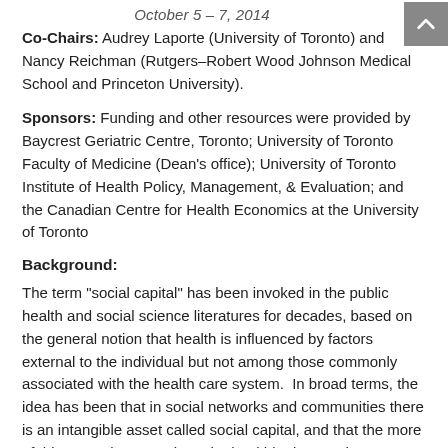October 5 – 7, 2014
Co-Chairs: Audrey Laporte (University of Toronto) and Nancy Reichman (Rutgers–Robert Wood Johnson Medical School and Princeton University).
Sponsors: Funding and other resources were provided by Baycrest Geriatric Centre, Toronto; University of Toronto Faculty of Medicine (Dean's office); University of Toronto Institute of Health Policy, Management, & Evaluation; and the Canadian Centre for Health Economics at the University of Toronto
Background:
The term "social capital" has been invoked in the public health and social science literatures for decades, based on the general notion that health is influenced by factors external to the individual but not among those commonly associated with the health care system.  In broad terms, the idea has been that in social networks and communities there is an intangible asset called social capital, and that the more of this asset the group has, the healthier its members